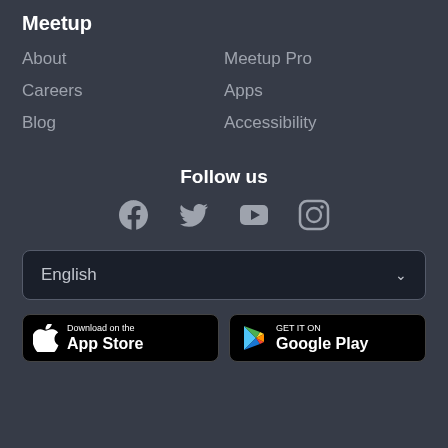Meetup
About
Meetup Pro
Careers
Apps
Blog
Accessibility
Follow us
[Figure (infographic): Social media icons: Facebook, Twitter, YouTube, Instagram]
English
[Figure (infographic): Download on the App Store button]
[Figure (infographic): GET IT ON Google Play button]